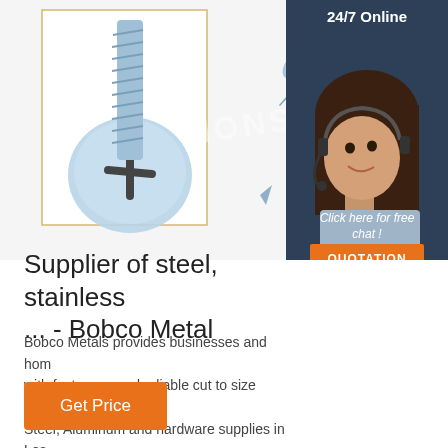[Figure (photo): Photo of steel screws - a close-up pan-head Phillips screw on left and two self-drilling screws on the right, with a watermark reading MONSUN. A dark side panel on the right shows a customer service representative with headset and text '24/7 Online', 'Click here for free chat!', and an orange QUOTATION button.]
Supplier of steel, stainless ... - Bobco Metal
Bobco Metals provides businesses and hom with fast, easy and reliable cut to size Steel, Steel, Aluminum and hardware supplies in Los Angeles, CA, USA.
Get Price